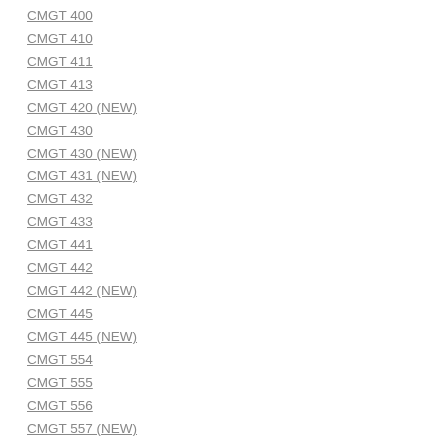CMGT 400
CMGT 410
CMGT 411
CMGT 413
CMGT 420 (NEW)
CMGT 430
CMGT 430 (NEW)
CMGT 431 (NEW)
CMGT 432
CMGT 433
CMGT 441
CMGT 442
CMGT 442 (NEW)
CMGT 445
CMGT 445 (NEW)
CMGT 554
CMGT 555
CMGT 556
CMGT 557 (NEW)